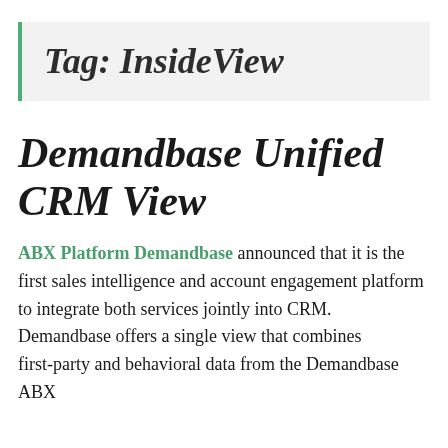Tag: InsideView
Demandbase Unified CRM View
ABX Platform Demandbase announced that it is the first sales intelligence and account engagement platform to integrate both services jointly into CRM.  Demandbase offers a single view that combines first-party and behavioral data from the Demandbase ABX